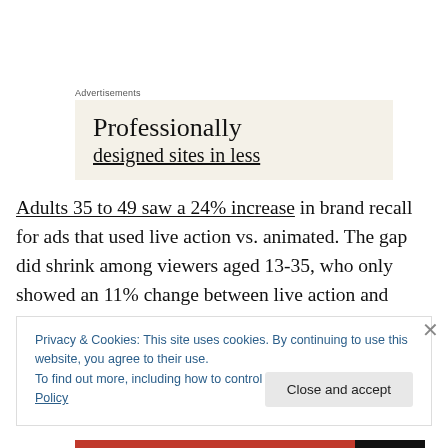Advertisements
[Figure (screenshot): Advertisement box with beige/cream background showing text 'Professionally designed sites in less']
Adults 35 to 49 saw a 24% increase in brand recall for ads that used live action vs. animated. The gap did shrink among viewers aged 13-35, who only showed an 11% change between live action and animated creatives.
Privacy & Cookies: This site uses cookies. By continuing to use this website, you agree to their use.
To find out more, including how to control cookies, see here: Cookie Policy